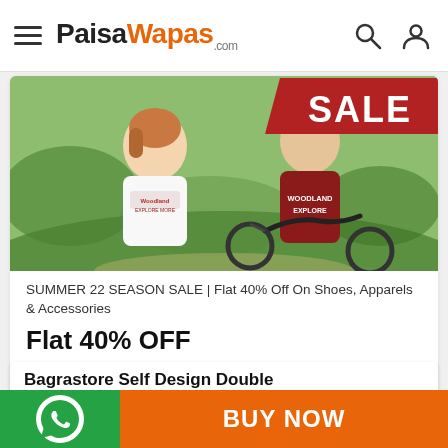PaisaWapas.com
[Figure (photo): Two people wearing Woodland branded t-shirts outdoors near a bicycle, with a SALE banner in the top right corner. A man in a dark red Woodland Explore t-shirt is on a bicycle, and a woman in a white Woodland t-shirt stands beside him.]
SUMMER 22 SEASON SALE | Flat 40% Off On Shoes, Apparels & Accessories
Flat 40% OFF
Flat 8% PW Cashback
[Figure (logo): Woodland green brand logo with tree symbol and text EXPLORE MORE]
Bagrastore Self Design Double
[Figure (logo): WhatsApp icon in green circle]
BUY NOW